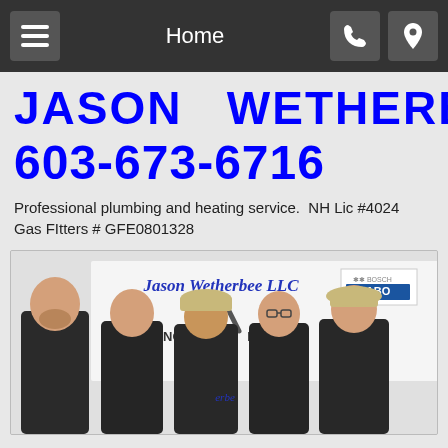Home
JASON   WETHERBEE   LLC
603-673-6716
Professional plumbing and heating service.  NH Lic #4024  Gas FItters # GFE0801328
[Figure (photo): Five men in dark uniforms standing in front of a Jason Wetherbee LLC van/banner with Bosch ABO logo visible]